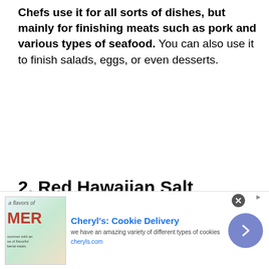Chefs use it for all sorts of dishes, but mainly for finishing meats such as pork and various types of seafood. You can also use it to finish salads, eggs, or even desserts.
2. Red Hawaiian Salt
[Figure (other): Advertisement banner for Cheryl's Cookie Delivery with product image, text, and arrow button]